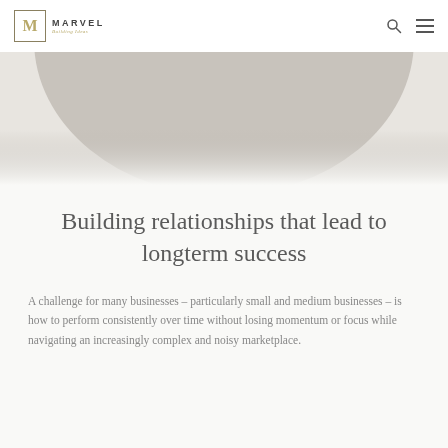MARVEL
[Figure (illustration): Gray hero banner image showing a partial circular shape (arch or silhouette) in muted gray tones against a light background]
Building relationships that lead to longterm success
A challenge for many businesses – particularly small and medium businesses – is how to perform consistently over time without losing momentum or focus while navigating an increasingly complex and noisy marketplace.